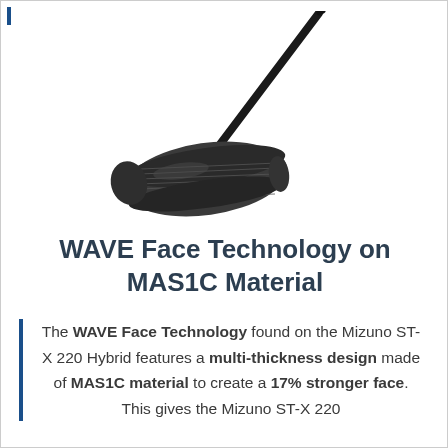[Figure (photo): Mizuno ST-X 220 Hybrid golf club shown from the front/face angle, dark/black finish with grooved face, long shaft extending upper right]
WAVE Face Technology on MAS1C Material
The WAVE Face Technology found on the Mizuno ST-X 220 Hybrid features a multi-thickness design made of MAS1C material to create a 17% stronger face. This gives the Mizuno ST-X 220